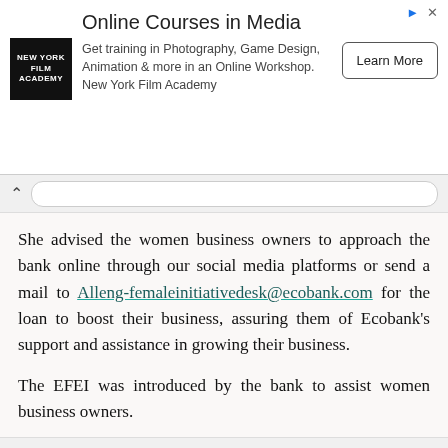[Figure (infographic): Advertisement banner for New York Film Academy Online Courses in Media. Features NYFA logo (black square with white text), headline 'Online Courses in Media', description text about Photography, Game Design, Animation workshops, and a 'Learn More' button. Top-right shows ad icons (arrow and X).]
She advised the women business owners to approach the bank online through our social media platforms or send a mail to Alleng-femaleinitiativedesk@ecobank.com for the loan to boost their business, assuring them of Ecobank's support and assistance in growing their business.
The EFEI was introduced by the bank to assist women business owners.
Earlier in the year, Ecobank trained over 140 female business owners through the EFEI platform on digital marketing skills in its state-of-the-art Academy.